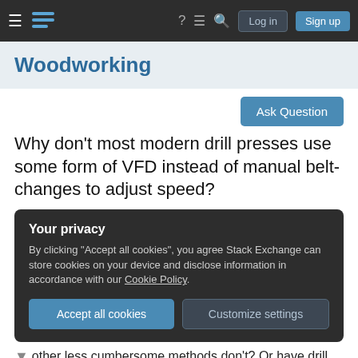Woodworking — Stack Exchange navigation bar with Log in and Sign up buttons
Woodworking
Ask Question
Why don't most modern drill presses use some form of VFD instead of manual belt-changes to adjust speed?
Your privacy
By clicking "Accept all cookies", you agree Stack Exchange can store cookies on your device and disclose information in accordance with our Cookie Policy.
Accept all cookies   Customize settings
other less cumbersome methods don't? Or have drill